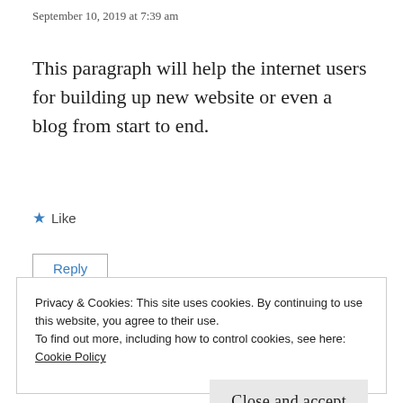September 10, 2019 at 7:39 am
This paragraph will help the internet users for building up new website or even a blog from start to end.
★ Like
Reply
Privacy & Cookies: This site uses cookies. By continuing to use this website, you agree to their use.
To find out more, including how to control cookies, see here:
Cookie Policy
Close and accept